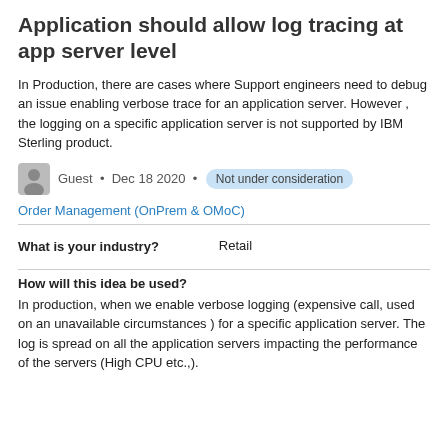Application should allow log tracing at app server level
In Production, there are cases where Support engineers need to debug an issue enabling verbose trace for an application server. However , the logging on a specific application server is not supported by IBM Sterling product.
Guest • Dec 18 2020 • Not under consideration
Order Management (OnPrem & OMoC)
| What is your industry? |  |
| --- | --- |
| What is your industry? | Retail |
How will this idea be used?
In production, when we enable verbose logging (expensive call, used on an unavailable circumstances ) for a specific application server. The log is spread on all the application servers impacting the performance of the servers (High CPU etc.,).